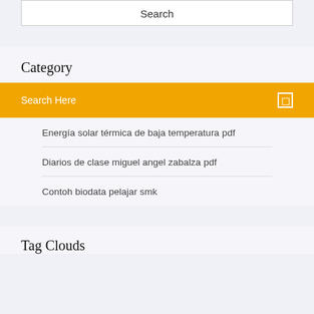Search
Category
Search Here
Energía solar térmica de baja temperatura pdf
Diarios de clase miguel angel zabalza pdf
Contoh biodata pelajar smk
Tag Clouds